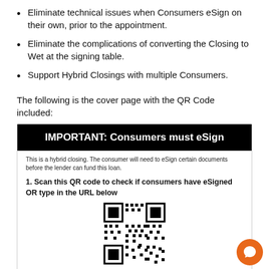Eliminate technical issues when Consumers eSign on their own, prior to the appointment.
Eliminate the complications of converting the Closing to Wet at the signing table.
Support Hybrid Closings with multiple Consumers.
The following is the cover page with the QR Code included:
[Figure (infographic): Cover page card with black header reading 'IMPORTANT: Consumers must eSign', body text about hybrid closing, numbered instruction to scan QR code, and a QR code image at the bottom.]